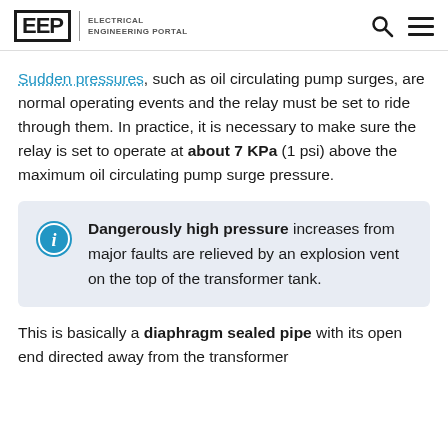EEP | ELECTRICAL ENGINEERING PORTAL
Sudden pressures, such as oil circulating pump surges, are normal operating events and the relay must be set to ride through them. In practice, it is necessary to make sure the relay is set to operate at about 7 KPa (1 psi) above the maximum oil circulating pump surge pressure.
Dangerously high pressure increases from major faults are relieved by an explosion vent on the top of the transformer tank.
This is basically a diaphragm sealed pipe with its open end directed away from the transformer